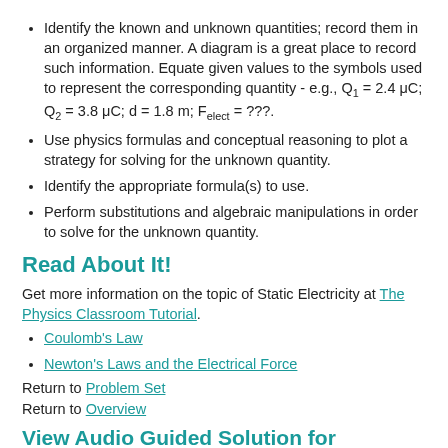Identify the known and unknown quantities; record them in an organized manner. A diagram is a great place to record such information. Equate given values to the symbols used to represent the corresponding quantity - e.g., Q1 = 2.4 μC; Q2 = 3.8 μC; d = 1.8 m; Felect = ???.
Use physics formulas and conceptual reasoning to plot a strategy for solving for the unknown quantity.
Identify the appropriate formula(s) to use.
Perform substitutions and algebraic manipulations in order to solve for the unknown quantity.
Read About It!
Get more information on the topic of Static Electricity at The Physics Classroom Tutorial.
Coulomb's Law
Newton's Laws and the Electrical Force
Return to Problem Set
Return to Overview
View Audio Guided Solution for Problem: